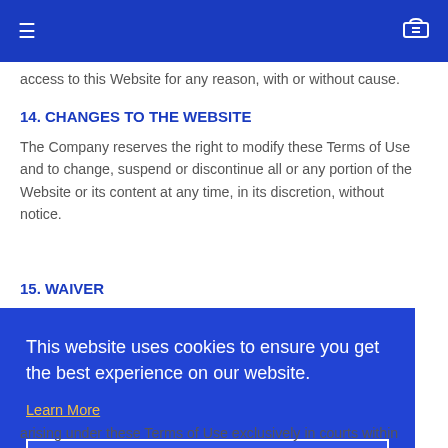≡  [navigation]  [cart]
access to this Website for any reason, with or without cause.
14. CHANGES TO THE WEBSITE
The Company reserves the right to modify these Terms of Use and to change, suspend or discontinue all or any portion of the Website or its content at any time, in its discretion, without notice.
15. WAIVER
This website uses cookies to ensure you get the best experience on our website.
Learn More
Got it!
arising under these Terms of Use exclusively in courts within